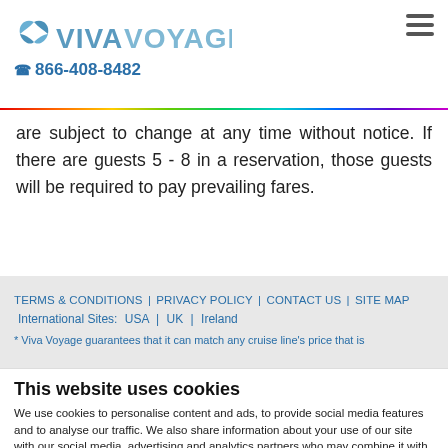VIVAVOYAGE | ☎ 866-408-8482
are subject to change at any time without notice. If there are guests 5 - 8 in a reservation, those guests will be required to pay prevailing fares.
TERMS & CONDITIONS | PRIVACY POLICY | CONTACT US | SITE MAP
International Sites: USA | UK | Ireland
* Viva Voyage guarantees that it can match any cruise line's price that is
This website uses cookies
We use cookies to personalise content and ads, to provide social media features and to analyse our traffic. We also share information about your use of our site with our social media, advertising and analytics partners who may combine it with other information that you've provided to them or that they've collected from your use of their services. You consent to our cookies if you continue to use our website.
Allow all cookies | Show details